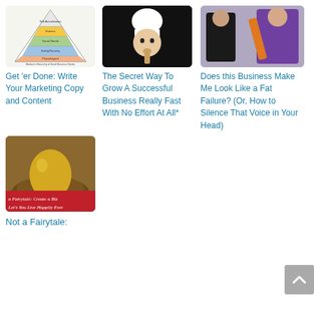[Figure (illustration): Maslow's Hierarchy of Small Business Needs pyramid diagram with colored layers and text labels]
[Figure (photo): Man in white chef hat and coat holding a wooden spoon to his mouth, on black background]
[Figure (photo): Illustrated/stylized image of a woman in black outfit and purple outfit, artistic style]
Get 'er Done: Write Your Marketing Copy and Content
The Secret Way To Grow A Successful Business Really Fast With No Effort At All*
Does this Business Make Me Look Like a Fat Failure? (Or, How to Silence That Voice in Your Head)
[Figure (photo): Golden egg in a nest with red banner text reading 'a Fairytale: Create a Biz Let's You Live Happily Ever']
Not a Fairytale: